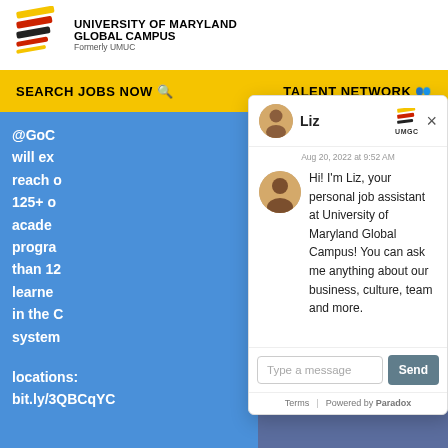[Figure (screenshot): University of Maryland Global Campus website screenshot with chatbot popup overlay named 'Liz'. The page shows the UMGC logo, a yellow navigation bar with 'SEARCH JOBS NOW' and 'TALENT NETWORK', blue background text content, and a chat widget popup from 'Liz' the job assistant bot with message: 'Hi! I'm Liz, your personal job assistant at University of Maryland Global Campus! You can ask me anything about our business, culture, team and more.' A text input field says 'Type a message' with a Send button. Footer shows 'Terms | Powered by Paradox'. Bottom section shows #ItTakesAVillage and social media icons with date '19 Aug 2022'.]